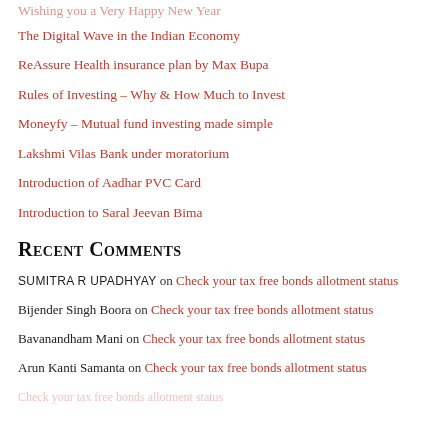Wishing you a Very Happy New Year
The Digital Wave in the Indian Economy
ReAssure Health insurance plan by Max Bupa
Rules of Investing – Why & How Much to Invest
Moneyfy – Mutual fund investing made simple
Lakshmi Vilas Bank under moratorium
Introduction of Aadhar PVC Card
Introduction to Saral Jeevan Bima
Recent Comments
SUMITRA R UPADHYAY on Check your tax free bonds allotment status
Bijender Singh Boora on Check your tax free bonds allotment status
Bavanandham Mani on Check your tax free bonds allotment status
Arun Kanti Samanta on Check your tax free bonds allotment status
... on Check your tax free bonds allotment status